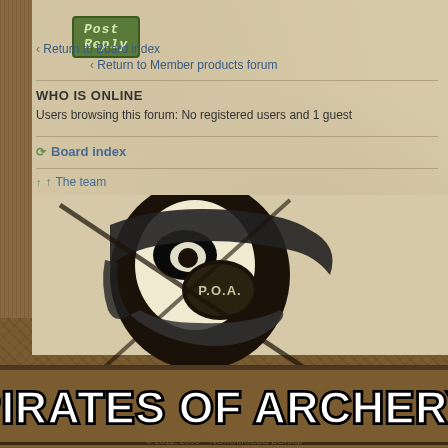Post Reply
Return to Board index
Return to Member products forum
WHO IS ONLINE
Users browsing this forum: No registered users and 1 guest
Board index
The team
[Figure (logo): Pirates of Archery (P.O.A.) logo — skull graphic wearing a bandana with P.O.A. text, with stylized gothic lettering reading PIRATES OF ARCHERY]
© 2012, 2006 – NOXOMOEBB BGroup